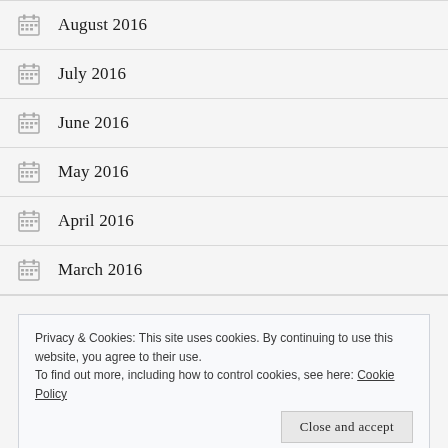August 2016
July 2016
June 2016
May 2016
April 2016
March 2016
Privacy & Cookies: This site uses cookies. By continuing to use this website, you agree to their use.
To find out more, including how to control cookies, see here: Cookie Policy
Close and accept